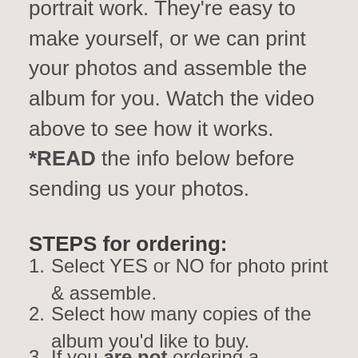portrait work. They're easy to make yourself, or we can print your photos and assemble the album for you. Watch the video above to see how it works. *READ the info below before sending us your photos.
STEPS for ordering:
Select YES or NO for photo print & assemble.
Select how many copies of the album you'd like to buy.
If you are not ordering a personalised cover or print &